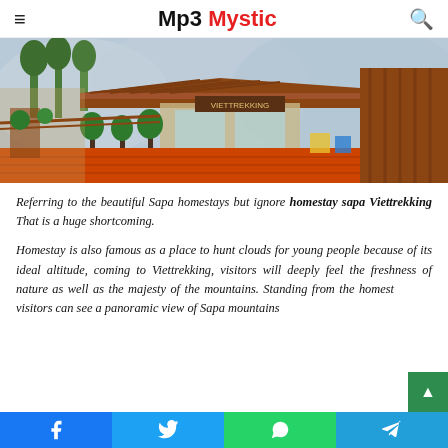Mp3 Mystic
[Figure (photo): Scenic photo of a wooden homestay in Sapa, Vietnam, with green plants, red flooring, and mountain views in background]
Referring to the beautiful Sapa homestays but ignore homestay sapa Viettrekking That is a huge shortcoming.
Homestay is also famous as a place to hunt clouds for young people because of its ideal altitude, coming to Viettrekking, visitors will deeply feel the freshness of nature as well as the majesty of the mountains. Standing from the homestay visitors can see a panoramic view of Sapa mountains